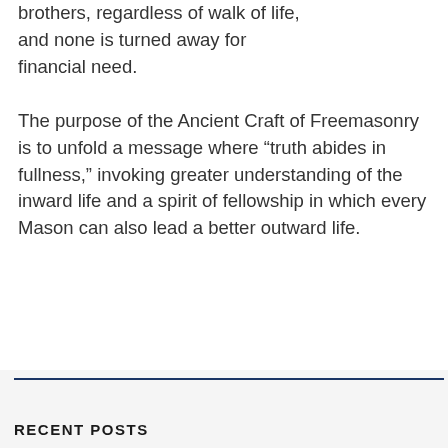brothers, regardless of walk of life, and none is turned away for financial need.
The purpose of the Ancient Craft of Freemasonry is to unfold a message where “truth abides in fullness,” invoking greater understanding of the inward life and a spirit of fellowship in which every Mason can also lead a better outward life.
RECENT POSTS